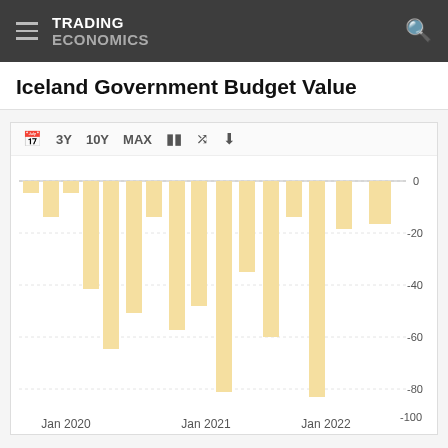TRADING ECONOMICS
Iceland Government Budget Value
[Figure (bar-chart): Iceland Government Budget Value]